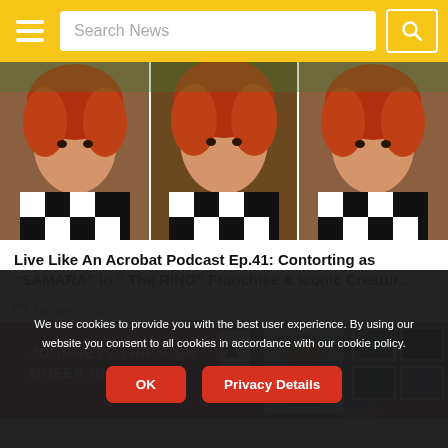Search News
[Figure (photo): Three repeated images of a woman with red hair wearing a black and white checkered outfit, posed against a green outdoor background]
Live Like An Acrobat Podcast Ep.41: Contorting as “SAMARA” in “ The RING” Franchise & Iconic Creatur...
February 1, 2022
[Figure (photo): Podcast cover art for 'Journeys Through Queer Circus' featuring a man seated and several smaller portrait photos on a pink and blue background]
We use cookies to provide you with the best user experience. By using our website you consent to all cookies in accordance with our cookie policy.